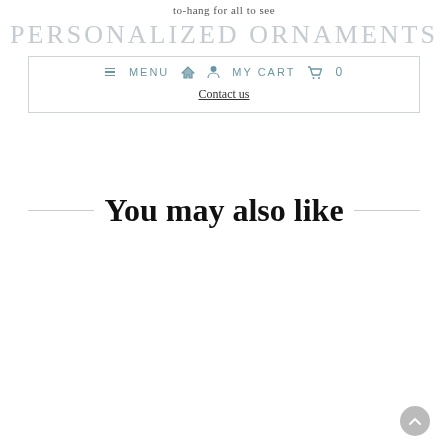to-hang for all to see
PERSONALIZED ORNAMENTS
≡ MENU  🏠  👤  MY CART  🛒  0
Contact us
You may also like